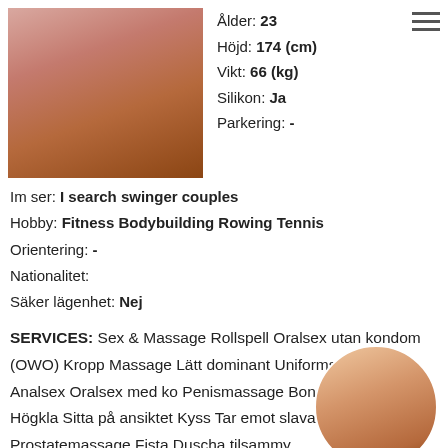[Figure (photo): Photo of a woman in a short plaid red skirt, upper thighs visible, wearing stockings]
Ålder: 23
Höjd: 174 (cm)
Vikt: 66 (kg)
Silikon: Ja
Parkering: -
Im ser: I search swinger couples
Hobby: Fitness Bodybuilding Rowing Tennis
Orientering: -
Nationalitet:
Säker lägenhet: Nej
SERVICES: Sex & Massage Rollspell Oralsex utan kondom (OWO) Kropp Massage Lätt dominant Uniforms Strap-on Analsex Oralsex med ko Penismassage Bondage (BDSM) Högkla Sitta på ansiktet Kyss Tar emot slavar Prostatemassage Fista Duscha tilsamm
[Figure (photo): Circular cropped photo of a woman in a white top]